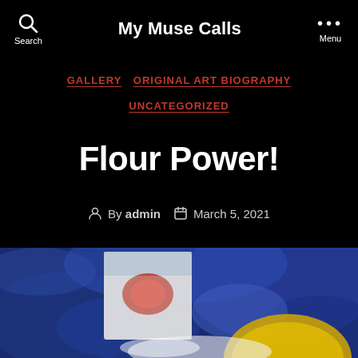My Muse Calls
GALLERY  ORIGINAL ART BIOGRAPHY  UNCATEGORIZED
Flour Power!
By admin  March 5, 2021
[Figure (photo): Painting of a flour bag with red logo and a yellow bowl on a swirling blue background, partially visible at the bottom of the page.]